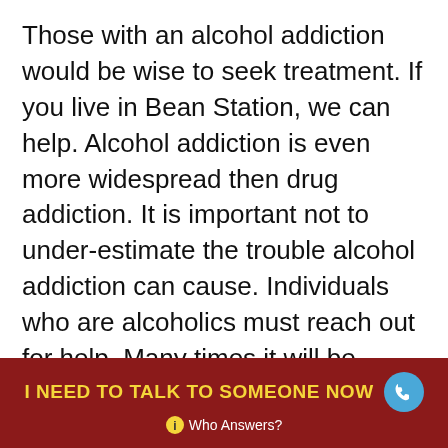Those with an alcohol addiction would be wise to seek treatment. If you live in Bean Station, we can help. Alcohol addiction is even more widespread then drug addiction. It is important not to under-estimate the trouble alcohol addiction can cause. Individuals who are alcoholics must reach out for help. Many times it will be necessary to enroll into rehab. For those that live in Bean Station, TN, we can help. Call us at the above number.
Those in Bean Station would benefit greatly from our holistic approach to drug and alcohol
I NEED TO TALK TO SOMEONE NOW  Who Answers?